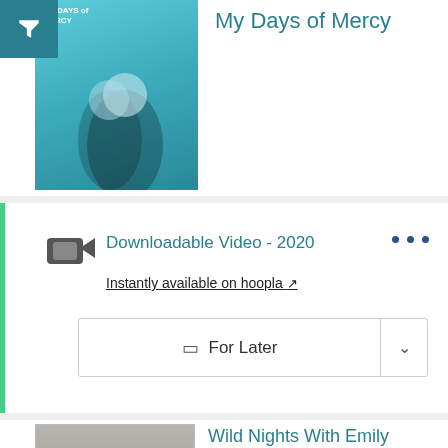My Days of Mercy
Downloadable Video - 2020
Instantly available on hoopla
For Later
Wild Nights With Emily
★★★☆☆
DVD - 2018